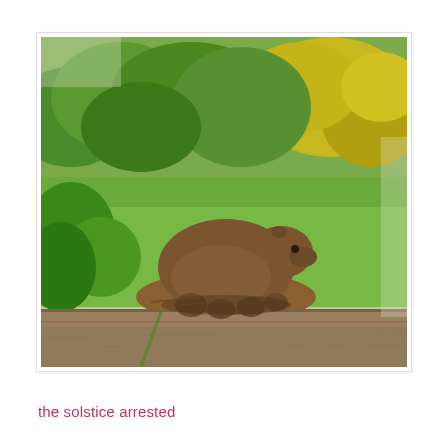[Figure (photo): A brown wombat standing on green grass in a garden or outdoor area, with lush green vegetation and yellow flowering bushes in the background, and a wooden deck or plank visible in the foreground bottom.]
the solstice arrested